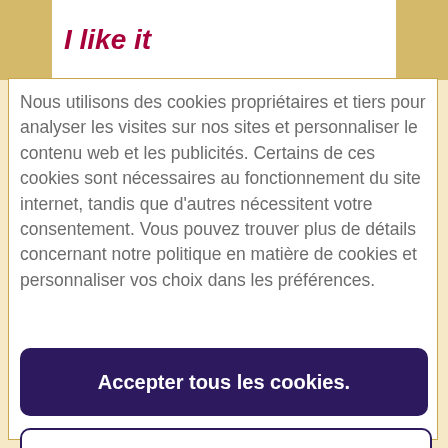I like it
Nous utilisons des cookies propriétaires et tiers pour analyser les visites sur nos sites et personnaliser le contenu web et les publicités. Certains de ces cookies sont nécessaires au fonctionnement du site internet, tandis que d'autres nécessitent votre consentement. Vous pouvez trouver plus de détails concernant notre politique en matière de cookies et personnaliser vos choix dans les préférences.
Accepter tous les cookies.
Paramètres des cookies